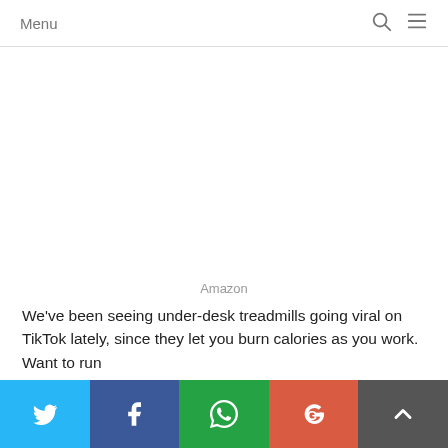Menu
[Figure (other): Empty white image area placeholder]
Amazon
We've been seeing under-desk treadmills going viral on TikTok lately, since they let you burn calories as you work. Want to run
Social share buttons: Twitter, Facebook, WhatsApp, Google+, Scroll to top